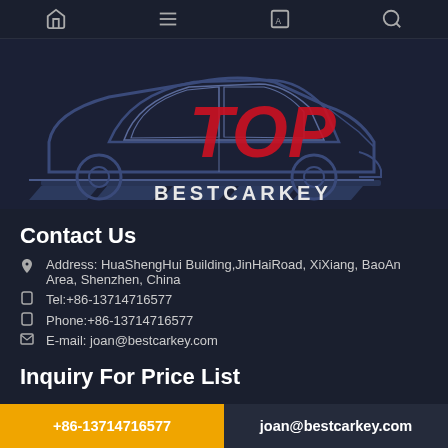Navigation bar with home, menu, translate, and search icons
[Figure (logo): TOP BESTCARKEY logo with dark blue car silhouette on the left and bold red and white TOP text with BESTCARKEY on a banner below]
Contact Us
Address: HuaShengHui Building,JinHaiRoad, XiXiang, BaoAn Area, Shenzhen, China
Tel:+86-13714716577
Phone:+86-13714716577
E-mail: joan@bestcarkey.com
Inquiry For Price List
+86-13714716577    joan@bestcarkey.com